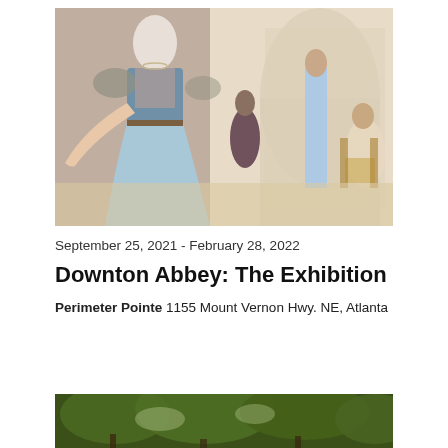[Figure (photo): Exhibition display showing a mannequin wearing an ornate blue and grey Edwardian-era gown with lace sleeves, alongside background images of elegantly dressed figures in a grand interior setting.]
September 25, 2021 - February 28, 2022
Downton Abbey: The Exhibition
Perimeter Pointe 1155 Mount Vernon Hwy. NE, Atlanta
[Figure (photo): Outdoor scene with trees and foliage, partially visible at the bottom of the page.]